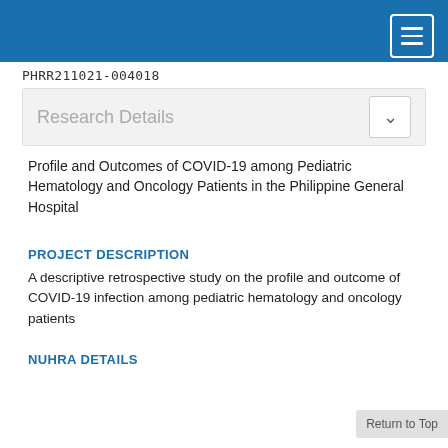PHRR211021-004018
Research Details
Profile and Outcomes of COVID-19 among Pediatric Hematology and Oncology Patients in the Philippine General Hospital
PROJECT DESCRIPTION
A descriptive retrospective study on the profile and outcome of COVID-19 infection among pediatric hematology and oncology patients
NUHRA DETAILS
| Regime | Classification | Priority |
| --- | --- | --- |
| 2017 - 2022 |  |  |